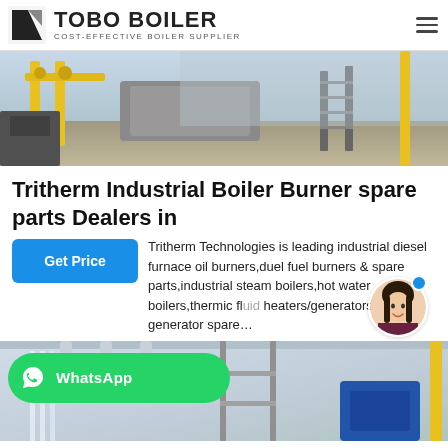TOBO BOILER — COST-EFFECTIVE BOILER SUPPLIER
[Figure (photo): Industrial boiler facility interior with yellow pipes, metal staircases, machinery and equipment]
Tritherm Industrial Boiler Burner spare parts Dealers in
Tritherm Technologies is leading industrial diesel furnace oil burners,duel fuel burners & spare parts,industrial steam boilers,hot water boilers,thermic fluid heaters/generators,hot air generator spare…
[Figure (photo): Industrial equipment with pipes and machinery; WhatsApp contact button overlay in green]